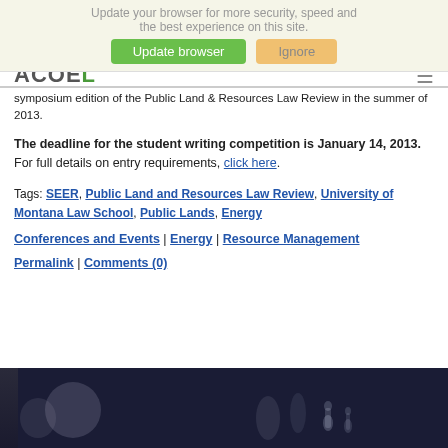[Figure (screenshot): Browser update banner overlay with green 'Update browser' button and orange 'Ignore' button, ACOEL site logo partially visible, hamburger menu icon top right]
symposium edition of the Public Land & Resources Law Review in the summer of 2013.
The deadline for the student writing competition is January 14, 2013. For full details on entry requirements, click here.
Tags: SEER, Public Land and Resources Law Review, University of Montana Law School, Public Lands, Energy
Conferences and Events | Energy | Resource Management
Permalink | Comments (0)
[Figure (photo): Dark blue/navy photograph strip at bottom of page, showing blurred figures, possibly legal or formal setting]